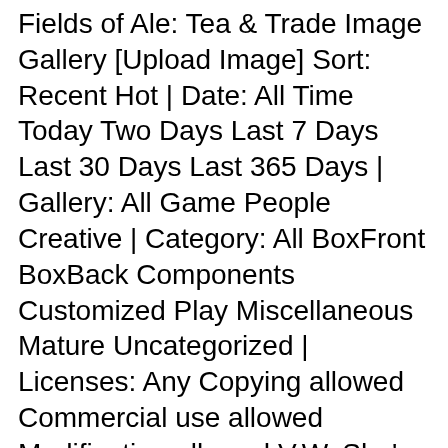Fields of Ale: Tea & Trade Image Gallery [Upload Image] Sort: Recent Hot | Date: All Time Today Two Days Last 7 Days Last 30 Days Last 365 Days | Gallery: All Game People Creative | Category: All BoxFront BoxBack Components Customized Play Miscellaneous Mature Uncategorized | Licenses: Any Copying allowed Commercial use allowed Modification allowed V.W. She's shown to be cheerful and is a bit of a tomboy. Being based on her appearance from Puyo Puyo Fever, so much so that the sprites are taken from said game. Glass Road is a pico lighter Rosenborg game, with a